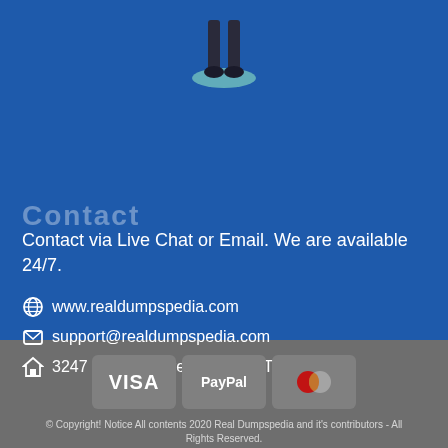[Figure (illustration): Bottom portion of a person standing on a teal/green circular shadow, on blue background]
Contact
Contact via Live Chat or Email. We are available 24/7.
www.realdumpspedia.com
support@realdumpspedia.com
3247 Richland Avenue,Porter,Texas
[Figure (other): Payment icons: VISA, PayPal, MasterCard on gray rounded rectangle buttons]
© Copyright! Notice All contents 2020 Real Dumpspedia and it's contributors - All Rights Reserved.